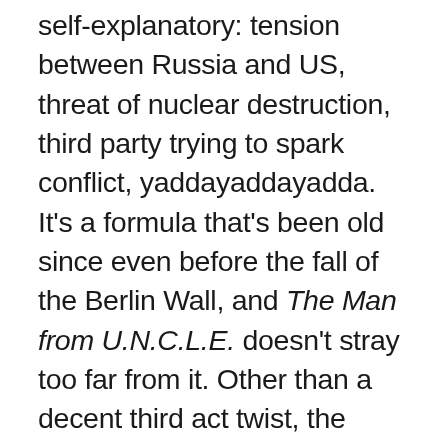self-explanatory: tension between Russia and US, threat of nuclear destruction, third party trying to spark conflict, yaddayaddayadda. It's a formula that's been old since even before the fall of the Berlin Wall, and The Man from U.N.C.L.E. doesn't stray too far from it. Other than a decent third act twist, the story is pretty formulaic and, given common knowledge of world history, the likelihood of total annihilation occurring is unlikely from the offset. However, what the film lacks in substance it more than makes up for in style and execution. The Man from U.N.C.L.E. is breezily paced and well structured, creating for a light and fun experience that keeps good time and never becomes dull. There is a great balance of action and humour, and when the two are combined it creates for some of the film's best moments. The